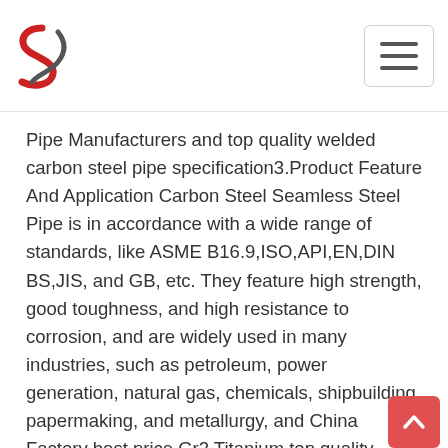ZS Steel Pipe logo and navigation menu
Pipe Manufacturers and top quality welded carbon steel pipe specification3.Product Feature And Application Carbon Steel Seamless Steel Pipe is in accordance with a wide range of standards, like ASME B16.9,ISO,API,EN,DIN BS,JIS, and GB, etc. They feature high strength, good toughness, and high resistance to corrosion, and are widely used in many industries, such as petroleum, power generation, natural gas, chemicals, shipbuilding, papermaking, and metallurgy, and China Factory best price Gr2 Titanium top quality welded carbon steel pipe specification - ZS Steel PipeEmail lisa@zssteeltube.com. Tel/APP:86-18132295089. Certificate ASTM ISO BV SGS. Titanium Tube and Pipe ASTM B338 standard. Features of Grade 1 /Grade 2/Grade 5/ Grade 9 (GR1/ GR2 /GR5/GR9 ) Grade Titanium. We can provide two types of titanium tube seamless tube and welded tube. China Factory best price Gr2 Titanium Welded Tube. China Galvanized Pipe, Hot-DIP Galvanized Steel Pipe top quality welded carbon steel pipe